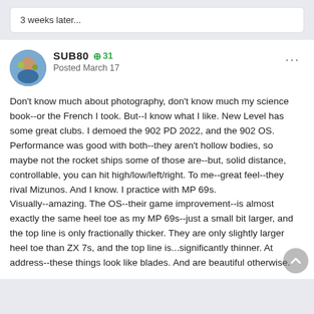3 weeks later...
SUB80  +31
Posted March 17
Don't know much about photography, don't know much my science book--or the French I took.  But--I know what I like.  New Level has some great clubs.  I demoed the 902 PD 2022, and the 902 OS.  Performance was good with both--they aren't hollow bodies, so maybe not the rocket ships some of those are--but, solid distance, controllable, you can hit high/low/left/right.  To me--great feel--they rival Mizunos.  And I know.  I practice with MP 69s.
Visually--amazing.  The OS--their game improvement--is almost exactly the same heel toe as my MP 69s--just a small bit larger, and the top line is only fractionally thicker.  They are only slightly larger heel toe than ZX 7s, and the top line is...significantly thinner.  At address--these things look like blades.  And are beautiful otherwise.